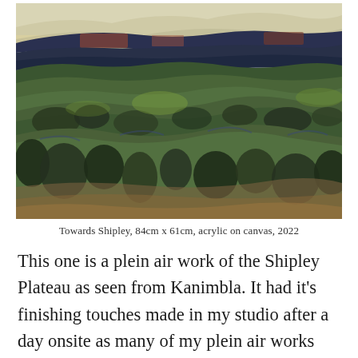[Figure (illustration): Painting titled 'Towards Shipley' showing an aerial/elevated landscape view of the Shipley Plateau and Kanimbla valley with rolling green hills, dark olive-green eucalyptus trees, blue-purple mountain escarpment ridgeline in the background, warm orange-brown foreground, and a pale cloudy sky. Acrylic on canvas, expressionistic brushwork.]
Towards Shipley, 84cm x 61cm, acrylic on canvas, 2022
This one is a plein air work of the Shipley Plateau as seen from Kanimbla. It had it's finishing touches made in my studio after a day onsite as many of my plein air works do. I wanted to bring out the wonderful rhythm of the escarpment and the curves and bumps of